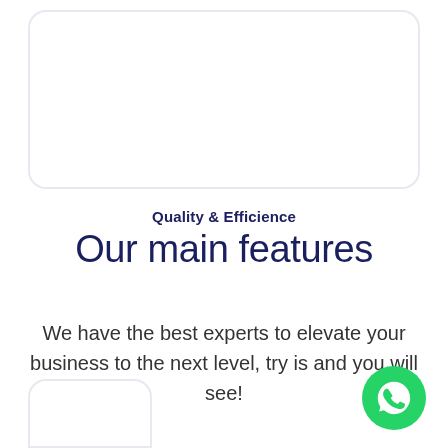[Figure (illustration): Rounded card / panel outline at the top of the page, light lavender border]
Quality & Efficience
Our main features
We have the best experts to elevate your business to the next level, try is and you will see!
[Figure (illustration): Partial rounded card outline at the bottom-left of the page]
[Figure (logo): WhatsApp floating action button — green circle with white phone/chat icon — bottom-right corner]